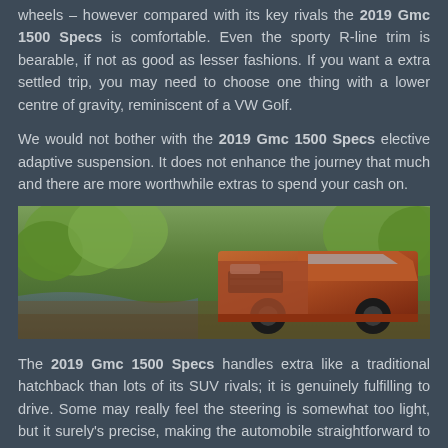wheels – however compared with its key rivals the 2019 Gmc 1500 Specs is comfortable. Even the sporty R-line trim is bearable, if not as good as lesser fashions. If you want a extra settled trip, you may need to choose one thing with a lower centre of gravity, reminiscent of a VW Golf.
We would not bother with the 2019 Gmc 1500 Specs elective adaptive suspension. It does not enhance the journey that much and there are more worthwhile extras to spend your cash on.
[Figure (photo): A red GMC 1500 pickup truck parked near a forest stream, surrounded by green trees. The truck is facing left with its front grille visible.]
The 2019 Gmc 1500 Specs handles extra like a traditional hatchback than lots of its SUV rivals; it is genuinely fulfilling to drive. Some may really feel the steering is somewhat too light, but it surely's precise, making the automobile straightforward to place on the street. There